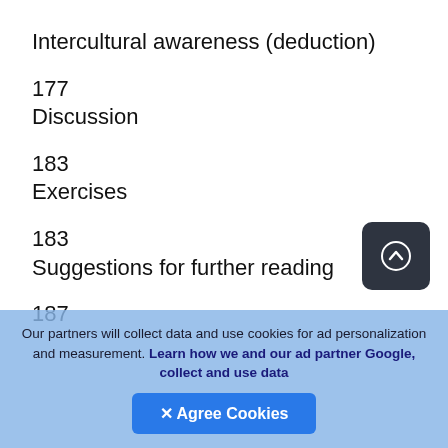Intercultural awareness (deduction)
177
Discussion
183
Exercises
183
Suggestions for further reading
187